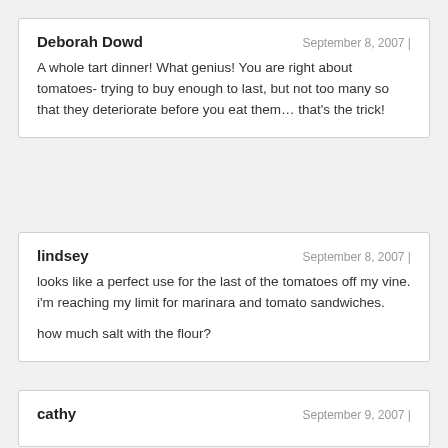Deborah Dowd | September 8, 2007 | A whole tart dinner! What genius! You are right about tomatoes- trying to buy enough to last, but not too many so that they deteriorate before you eat them… that's the trick!
lindsey | September 8, 2007 | looks like a perfect use for the last of the tomatoes off my vine. i'm reaching my limit for marinara and tomato sandwiches. | how much salt with the flour?
cathy | September 9, 2007 |